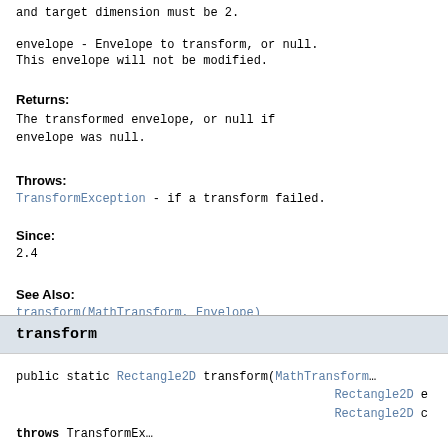and target dimension must be 2.
envelope - Envelope to transform, or null. This envelope will not be modified.
Returns:
The transformed envelope, or null if envelope was null.
Throws:
TransformException - if a transform failed.
Since:
2.4
See Also:
transform(MathTransform, Envelope)
transform
public static Rectangle2D transform(MathTransform Rectangle2D e Rectangle2D c throws TransformEx